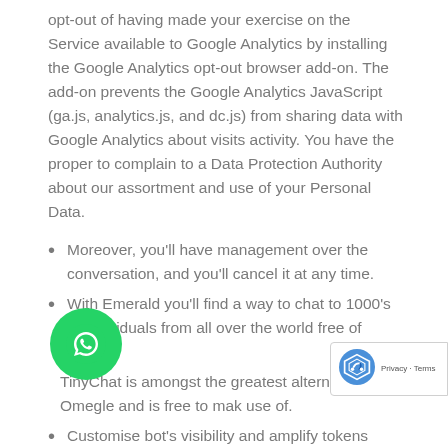opt-out of having made your exercise on the Service available to Google Analytics by installing the Google Analytics opt-out browser add-on. The add-on prevents the Google Analytics JavaScript (ga.js, analytics.js, and dc.js) from sharing data with Google Analytics about visits activity. You have the proper to complain to a Data Protection Authority about our assortment and use of your Personal Data.
Moreover, you'll have management over the conversation, and you'll cancel it at any time.
With Emerald you'll find a way to chat to 1000's of individuals from all over the world free of charge.
TinyChat is amongst the greatest alternatives to Omegle and is free to make use of.
Customise bot's visibility and amplify tokens